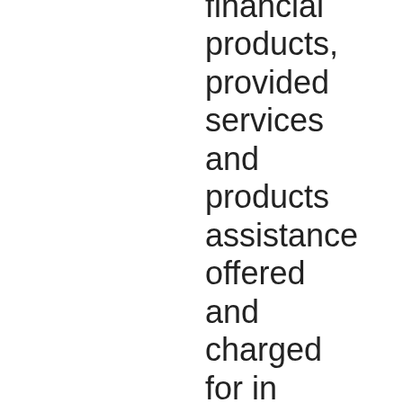financial products, provided services and products assistance offered and charged for in blend considering the financing and nearly every more purchaser work. Final, with 49 electronic